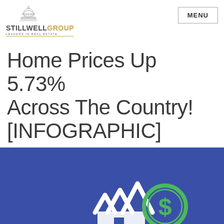STILLWELL GROUP LEADERS IN REAL ESTATE | MENU
Home Prices Up 5.73% Across The Country! [INFOGRAPHIC]
[Figure (infographic): Blue background infographic panel with a white house icon overlaid with upward arrows (indicating rising home prices) and a green dollar sign coin icon, representing home price appreciation.]